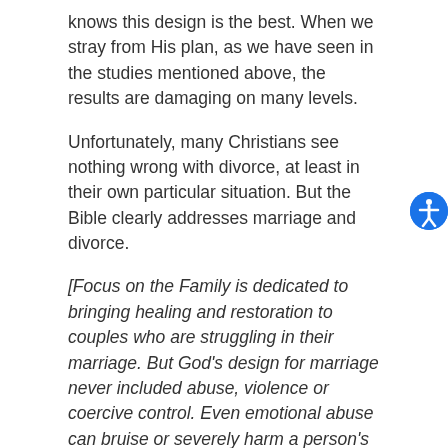knows this design is the best. When we stray from His plan, as we have seen in the studies mentioned above, the results are damaging on many levels.
Unfortunately, many Christians see nothing wrong with divorce, at least in their own particular situation. But the Bible clearly addresses marriage and divorce.
[Focus on the Family is dedicated to bringing healing and restoration to couples who are struggling in their marriage. But God’s design for marriage never included abuse, violence or coercive control. Even emotional abuse can bruise or severely harm a person’s heart, mind and soul. If you are in an abusive relationship, go to a safe place and call the National Domestic Violence Hotline at 1-800-799-7233 or visit them online at thehotline.org.]